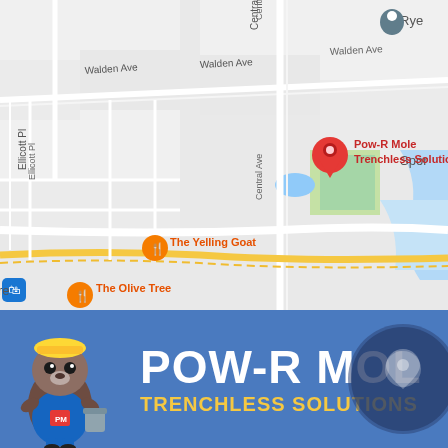[Figure (map): Google Maps screenshot showing location of Pow-R Mole Trenchless Solutions marked with a red pin. Nearby landmarks include The Yelling Goat restaurant (orange pin), Seibel Modern Manufacturing & (gray pin), The Olive Tree restaurant (orange pin), PRZ Technologies (gray pin), and Rye (gray pin). Street labels include Walden Ave, Central Ave, Ellicott Pl. Yellow highway roads visible in lower portion.]
[Figure (logo): Pow-R Mole Trenchless Solutions company banner with blue background, cartoon mole mascot in construction gear on the left, large white bold text POW-R MOLE, and yellow bold text TRENCHLESS SOLUTIONS below. A semi-transparent dark circle watermark on the right.]